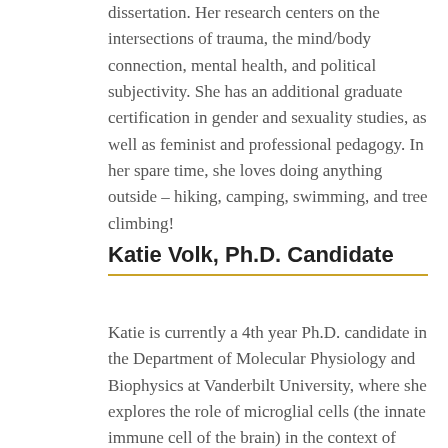dissertation. Her research centers on the intersections of trauma, the mind/body connection, mental health, and political subjectivity. She has an additional graduate certification in gender and sexuality studies, as well as feminist and professional pedagogy. In her spare time, she loves doing anything outside – hiking, camping, swimming, and tree climbing!
Katie Volk, Ph.D. Candidate
Katie is currently a 4th year Ph.D. candidate in the Department of Molecular Physiology and Biophysics at Vanderbilt University, where she explores the role of microglial cells (the innate immune cell of the brain) in the context of Alzheimer's Disease. Originally from Southern California, Katie received a Bachelor of Science degree in Neuroscience, with a minor in Art History, from